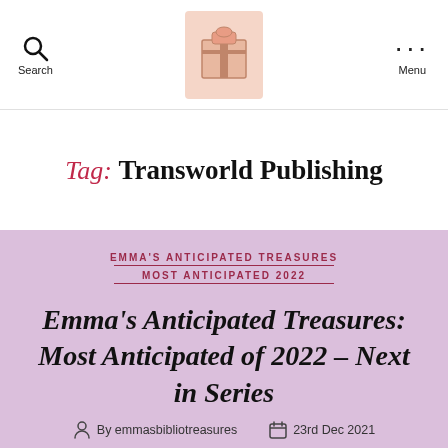Search | [Logo] | Menu
Tag: Transworld Publishing
EMMA'S ANTICIPATED TREASURES
MOST ANTICIPATED 2022
Emma's Anticipated Treasures: Most Anticipated of 2022 – Next in Series
By emmasbibliotreasures   23rd Dec 2021